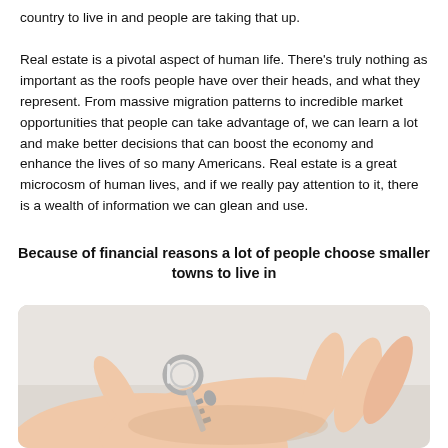country to live in and people are taking that up. Real estate is a pivotal aspect of human life. There's truly nothing as important as the roofs people have over their heads, and what they represent. From massive migration patterns to incredible market opportunities that people can take advantage of, we can learn a lot and make better decisions that can boost the economy and enhance the lives of so many Americans. Real estate is a great microcosm of human lives, and if we really pay attention to it, there is a wealth of information we can glean and use.
Because of financial reasons a lot of people choose smaller towns to live in
[Figure (photo): A hand holding a house key, photographed against a light background, with rounded corners on the image.]